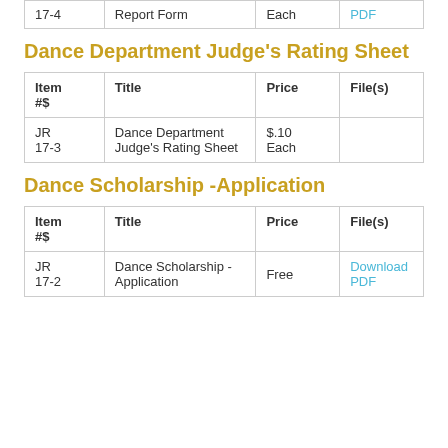| Item #$ | Title | Price | File(s) |
| --- | --- | --- | --- |
| 17-4 | Report Form | Each | PDF |
Dance Department Judge's Rating Sheet
| Item #$ | Title | Price | File(s) |
| --- | --- | --- | --- |
| JR 17-3 | Dance Department Judge's Rating Sheet | $.10 Each |  |
Dance Scholarship -Application
| Item #$ | Title | Price | File(s) |
| --- | --- | --- | --- |
| JR 17-2 | Dance Scholarship - Application | Free | Download PDF |